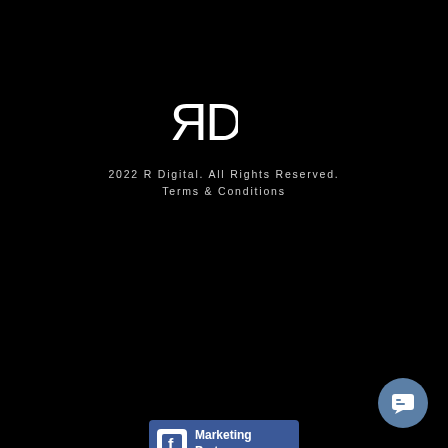[Figure (logo): RD logo in white on black background — stylized letters R and D]
2022 R Digital. All Rights Reserved.
Terms & Conditions
[Figure (logo): Facebook Marketing Partner badge — blue background with white Facebook 'f' icon and text 'Marketing Partner']
[Figure (logo): Google Partner badge — white background with colorful Google wordmark and 'Partner' text in gray]
[Figure (logo): TikTok partners badge — TikTok icon with 'TikTok' label, vertical divider, and 'partners' text]
[Figure (logo): HubSpot Certified Partner badge — white text on black with orange dot in HubSpot logo]
[Figure (logo): Mailchimp badge — small square with Mailchimp chimp icon]